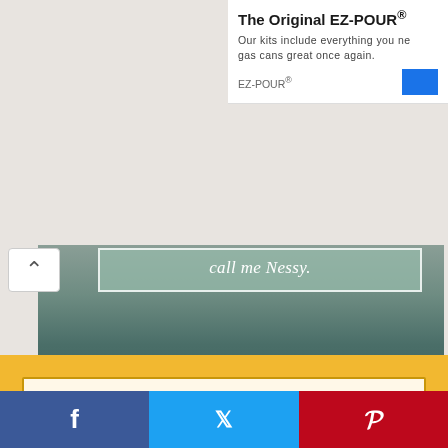[Figure (screenshot): Advertisement banner for EZ-POUR showing title, description text, brand name, and blue button]
The Original EZ-POUR®
Our kits include everything you ne... gas cans great once again.
EZ-POUR®
[Figure (photo): Street-level photo showing person's legs in brown boots standing in front of a green door on cobblestone pavement, with a semi-transparent overlay showing italic text 'call me Nessy.']
call me Nessy.
[Figure (screenshot): Yellow search bar with placeholder text 'Type keyword to search' and magnifying glass icon]
Type keyword to search
[Figure (infographic): Social media share bar with three sections: Facebook (blue), Twitter (light blue), Pinterest (red), each showing their respective icons f, bird, P]